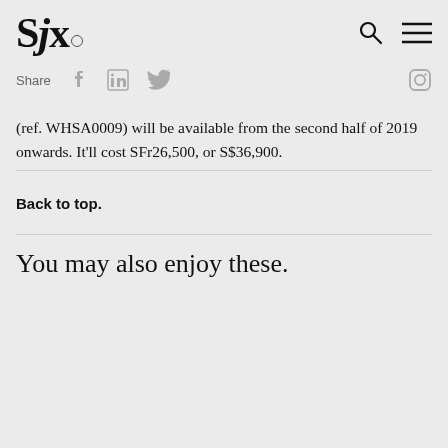SJx. [logo with search and menu icons]
Share [social icons: Facebook, LinkedIn, Twitter, Instagram]
(ref. WHSA0009) will be available from the second half of 2019 onwards. It'll cost SFr26,500, or S$36,900.
Back to top.
You may also enjoy these.